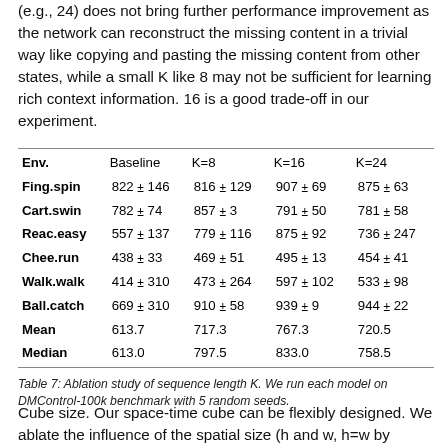(e.g., 24) does not bring further performance improvement as the network can reconstruct the missing content in a trivial way like copying and pasting the missing content from other states, while a small K like 8 may not be sufficient for learning rich context information. 16 is a good trade-off in our experiment.
| Env. | Baseline | K=8 | K=16 | K=24 |
| --- | --- | --- | --- | --- |
| Fing.spin | 822 ± 146 | 816 ± 129 | 907 ± 69 | 875 ± 63 |
| Cart.swin | 782 ± 74 | 857 ± 3 | 791 ± 50 | 781 ± 58 |
| Reac.easy | 557 ± 137 | 779 ± 116 | 875 ± 92 | 736 ± 247 |
| Chee.run | 438 ± 33 | 469 ± 51 | 495 ± 13 | 454 ± 41 |
| Walk.walk | 414 ± 310 | 473 ± 264 | 597 ± 102 | 533 ± 98 |
| Ball.catch | 669 ± 310 | 910 ± 58 | 939 ± 9 | 944 ± 22 |
| Mean | 613.7 | 717.3 | 767.3 | 720.5 |
| Median | 613.0 | 797.5 | 833.0 | 758.5 |
Table 7: Ablation study of sequence length K. We run each model on DMControl-100k benchmark with 5 random seeds.
Cube size. Our space-time cube can be flexibly designed. We ablate the influence of the spatial size (h and w, h=w by default) and temporal depth k, as shown in Figure 5(a) and 5(b). In general, a proper cube size leads to good results.